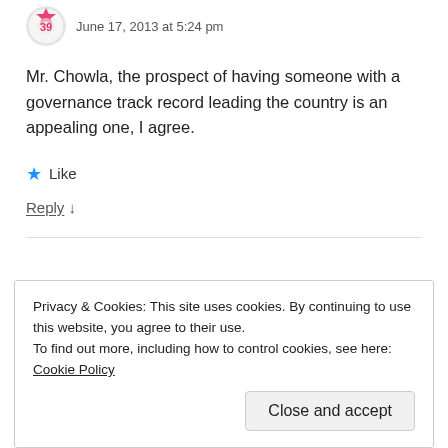June 17, 2013 at 5:24 pm
Mr. Chowla, the prospect of having someone with a governance track record leading the country is an appealing one, I agree.
★ Like
Reply ↓
Privacy & Cookies: This site uses cookies. By continuing to use this website, you agree to their use. To find out more, including how to control cookies, see here: Cookie Policy
Close and accept